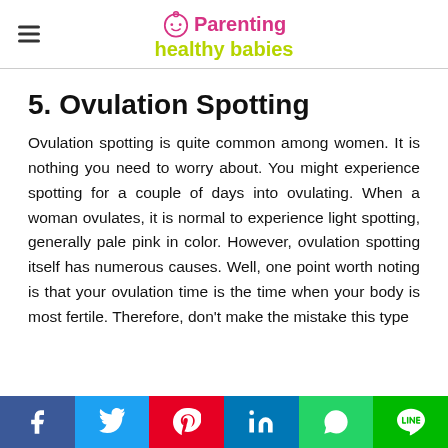Parenting healthy babies
5. Ovulation Spotting
Ovulation spotting is quite common among women. It is nothing you need to worry about. You might experience spotting for a couple of days into ovulating. When a woman ovulates, it is normal to experience light spotting, generally pale pink in color. However, ovulation spotting itself has numerous causes. Well, one point worth noting is that your ovulation time is the time when your body is most fertile. Therefore, don't make the mistake this type
Social share bar: Facebook, Twitter, Pinterest, LinkedIn, WhatsApp, LINE